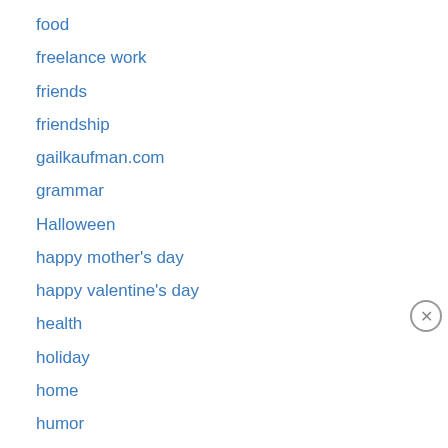food
freelance work
friends
friendship
gailkaufman.com
grammar
Halloween
happy mother's day
happy valentine's day
health
holiday
home
humor
Privacy & Cookies: This site uses cookies. By continuing to use this website, you agree to their use. To find out more, including how to control cookies, see here: Cookie Policy